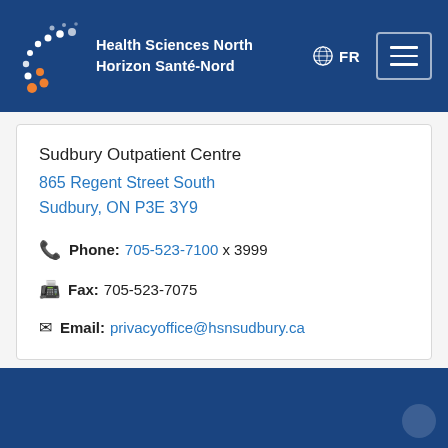[Figure (logo): Health Sciences North / Horizon Santé-Nord logo with stylized dots/circles in white and orange on dark blue background, alongside text 'Health Sciences North / Horizon Santé-Nord' in white bold]
Sudbury Outpatient Centre
865 Regent Street South
Sudbury, ON P3E 3Y9
Phone: 705-523-7100 x 3999
Fax: 705-523-7075
Email: privacyoffice@hsnsudbury.ca